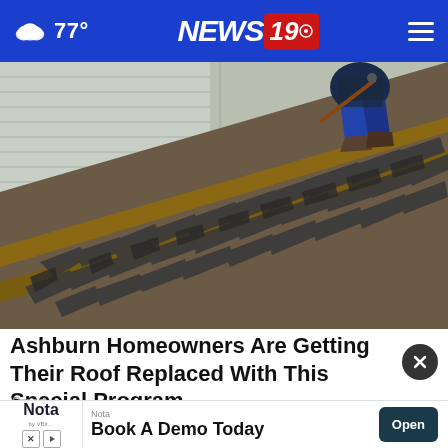77° NEWS 19
[Figure (photo): A roofer crouching on a sloped roof, removing old damaged shingles with a tool. The roof shows weathered and broken dark shingles with exposed wooden boards beneath.]
Ashburn Homeowners Are Getting Their Roof Replaced With This Special Program
Smart
[Figure (other): Advertisement banner: Nota logo with 'Book A Demo Today' and an 'Open' button]